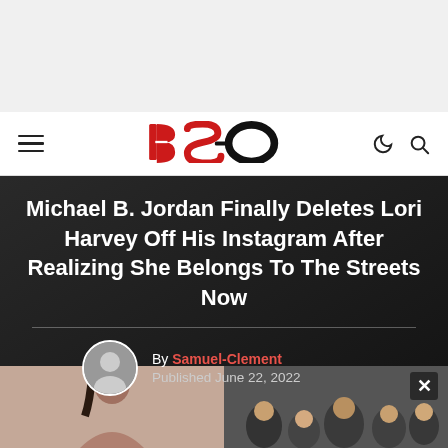[Figure (other): Advertisement banner area — light gray background]
BSO (Black Sports Online) navigation bar with hamburger menu, BSO logo, moon icon, and search icon
Michael B. Jordan Finally Deletes Lori Harvey Off His Instagram After Realizing She Belongs To The Streets Now
By Samuel-Clement
Published June 22, 2022
[Figure (photo): Two photos side by side: left shows a woman with dark hair, right shows a crowd scene with people]